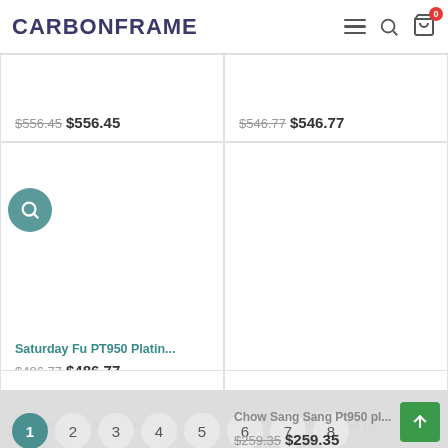CarbonFrame
$556.45 $556.45
$546.77 $546.77
Saturday Fu PT950 Platin... $486.77 $486.77
Chow Sang Sang Pt950 pl... $259.35 $259.35
Saturday Fu Jewelry PT95...
TSL Xie Ruilin Pt950 pl...
Pagination: 1 2 3 4 5 6 7 8 9 >